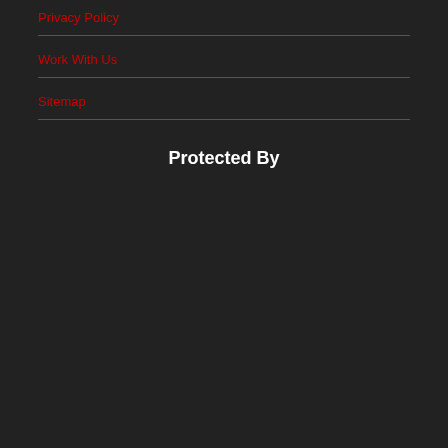Privacy Policy
Work With Us
Sitemap
Protected By